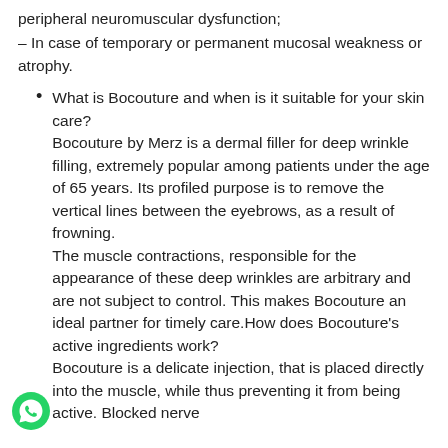peripheral neuromuscular dysfunction;
– In case of temporary or permanent mucosal weakness or atrophy.
What is Bocouture and when is it suitable for your skin care? Bocouture by Merz is a dermal filler for deep wrinkle filling, extremely popular among patients under the age of 65 years. Its profiled purpose is to remove the vertical lines between the eyebrows, as a result of frowning. The muscle contractions, responsible for the appearance of these deep wrinkles are arbitrary and are not subject to control. This makes Bocouture an ideal partner for timely care.How does Bocouture's active ingredients work? Bocouture is a delicate injection, that is placed directly into the muscle, while thus preventing it from being active. Blocked nerve ...